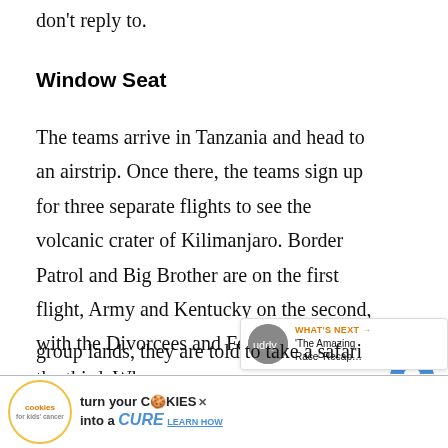don't reply to.
Window Seat
The teams arrive in Tanzania and head to an airstrip. Once there, the teams sign up for three separate flights to see the volcanic crater of Kilimanjaro. Border Patrol and Big Brother are on the first flight, Army and Kentucky on the second, with the Divorcees and Female Feds on the third. Where group lands, they are told to take a safari tru… s go